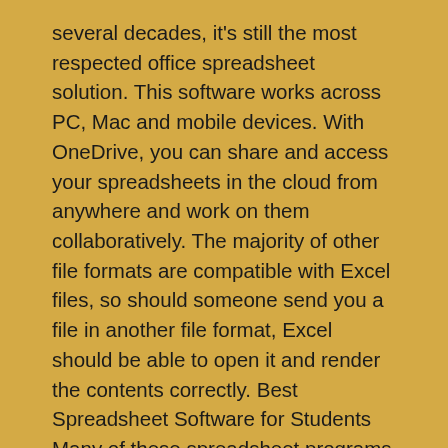several decades, it's still the most respected office spreadsheet solution. This software works across PC, Mac and mobile devices. With OneDrive, you can share and access your spreadsheets in the cloud from anywhere and work on them collaboratively. The majority of other file formats are compatible with Excel files, so should someone send you a file in another file format, Excel should be able to open it and render the contents correctly. Best Spreadsheet Software for Students Many of these spreadsheet programs would serve schools and students well.
However, LibreOffice Calc stands out because it's free and open source, so there are no licensing restrictions. This means that schools can provide students with copies of the software and install the software across